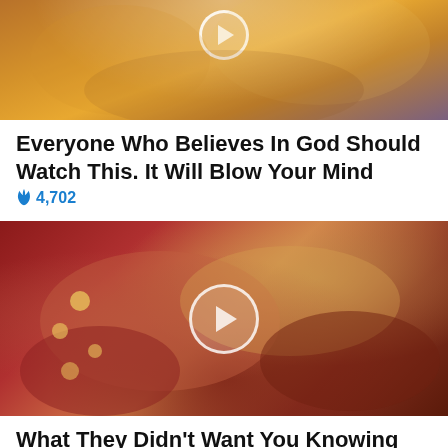[Figure (photo): Top portion of a video thumbnail showing clouds with golden/orange sky tones and a partially visible play button circle at the top]
Everyone Who Believes In God Should Watch This. It Will Blow Your Mind
🔥 4,702
[Figure (photo): Medical/anatomical illustration of internal organs (appears to show pancreas and intestines) with reddish-brown tones, featuring a white play button circle in the center]
What They Didn't Want You Knowing About Metformin